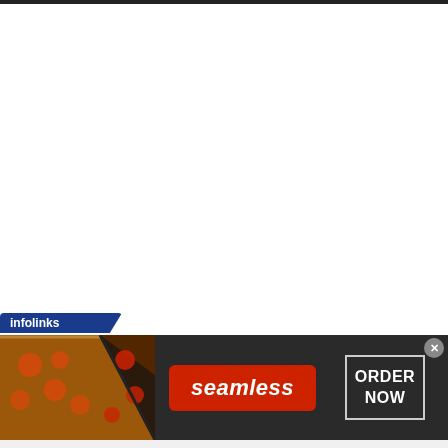More Rural Business Content
[Figure (infographic): Infolinks advertisement banner for Seamless food ordering service showing pizza images on the left, Seamless red logo badge in the center, and ORDER NOW button on the right on dark background]